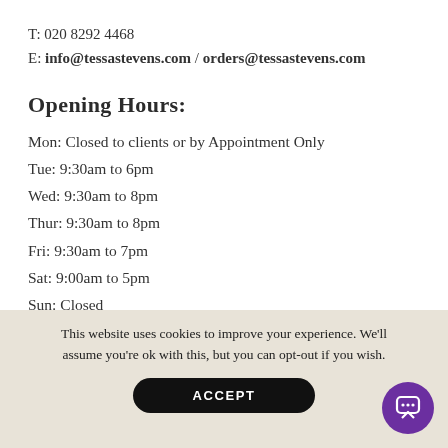T: 020 8292 4468
E: info@tessastevens.com / orders@tessastevens.com
Opening Hours:
Mon: Closed to clients or by Appointment Only
Tue: 9:30am to 6pm
Wed: 9:30am to 8pm
Thur: 9:30am to 8pm
Fri: 9:30am to 7pm
Sat: 9:00am to 5pm
Sun: Closed
This website uses cookies to improve your experience. We'll assume you're ok with this, but you can opt-out if you wish.